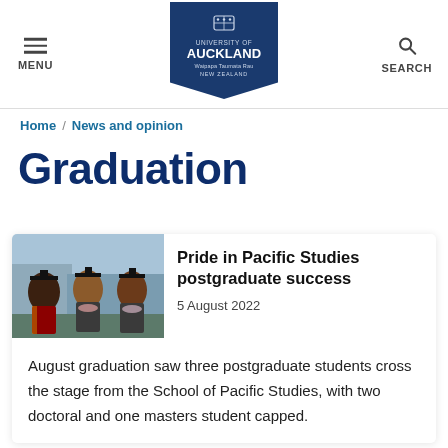MENU | University of Auckland | SEARCH
Home / News and opinion
Graduation
[Figure (photo): Three Pacific Studies postgraduate students in graduation robes and mortarboards, smiling outdoors]
Pride in Pacific Studies postgraduate success
5 August 2022
August graduation saw three postgraduate students cross the stage from the School of Pacific Studies, with two doctoral and one masters student capped.